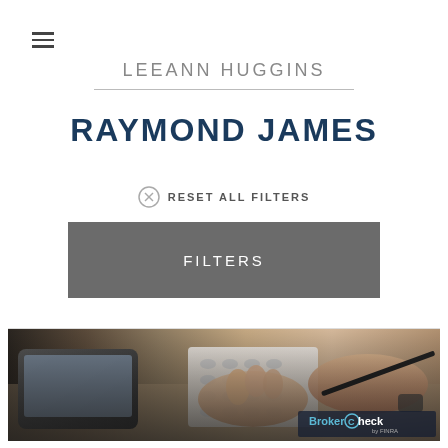≡ (hamburger menu)
LEEANN HUGGINS
[Figure (logo): Raymond James logo in dark navy bold uppercase text]
RESET ALL FILTERS
FILTERS
[Figure (photo): Close-up photo of hands using a calculator and holding a pen, with a tablet device visible, suggesting financial/accounting work. BrokerCheck by FINRA logo overlay in bottom right corner.]